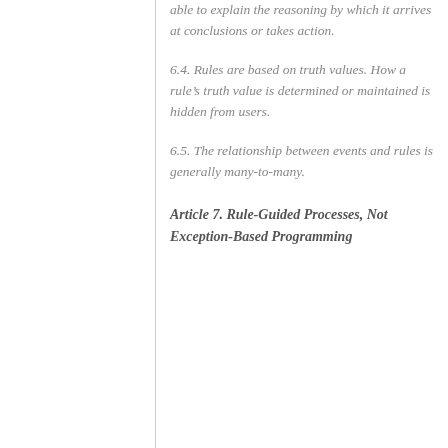able to explain the reasoning by which it arrives at conclusions or takes action.
6.4. Rules are based on truth values. How a rule’s truth value is determined or maintained is hidden from users.
6.5. The relationship between events and rules is generally many-to-many.
Article 7. Rule-Guided Processes, Not Exception-Based Programming